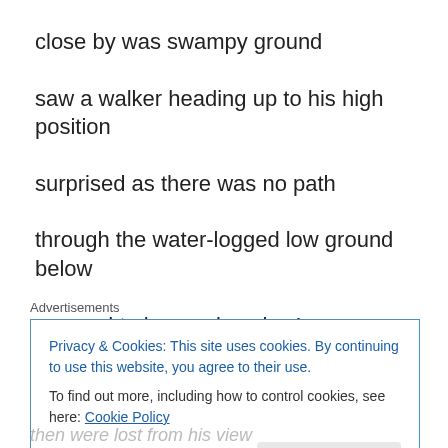close by was swampy ground
saw a walker heading up to his high position
surprised as there was no path
through the water-logged low ground below
seemed to be moving slow!
Advertisements
Privacy & Cookies: This site uses cookies. By continuing to use this website, you agree to their use.
To find out more, including how to control cookies, see here: Cookie Policy
Close and accept
then were lost from his view